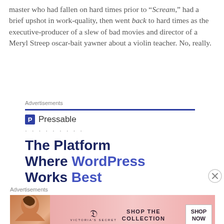master who had fallen on hard times prior to “Scream,” had a brief upshot in work-quality, then went back to hard times as the executive-producer of a slew of bad movies and director of a Meryl Streep oscar-bait yawner about a violin teacher. No, really.
Advertisements
[Figure (screenshot): Pressable advertisement: 'The Platform Where WordPress Works Best' with a See Pricing button]
Advertisements
[Figure (screenshot): Victoria's Secret advertisement: Shop the Collection, Shop Now]